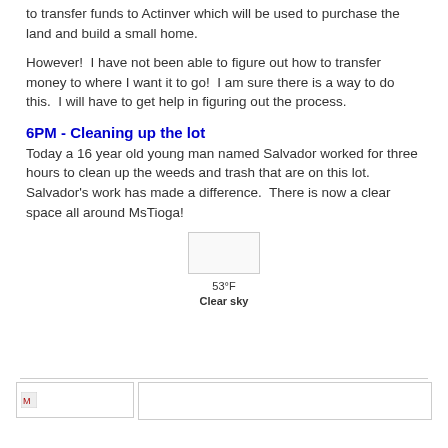to transfer funds to Actinver which will be used to purchase the land and build a small home.
However!  I have not been able to figure out how to transfer money to where I want it to go!  I am sure there is a way to do this.  I will have to get help in figuring out the process.
6PM - Cleaning up the lot
Today a 16 year old young man named Salvador worked for three hours to clean up the weeds and trash that are on this lot.  Salvador's work has made a difference.  There is now a clear space all around MsTioga!
[Figure (other): Weather widget showing a white/blank icon box, temperature 53°F, and description 'Clear sky']
[Figure (other): Footer area with two side-by-side boxes, left box contains a small icon]